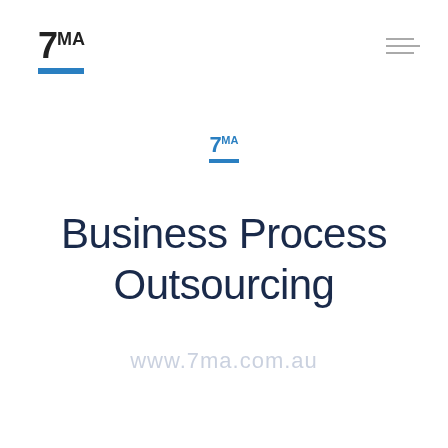[Figure (logo): 7MA logo with blue underbar, top-left corner]
[Figure (other): Hamburger menu icon with three horizontal lines, top-right corner]
[Figure (logo): 7MA logo in blue, centered, smaller version]
Business Process Outsourcing
www.7ma.com.au